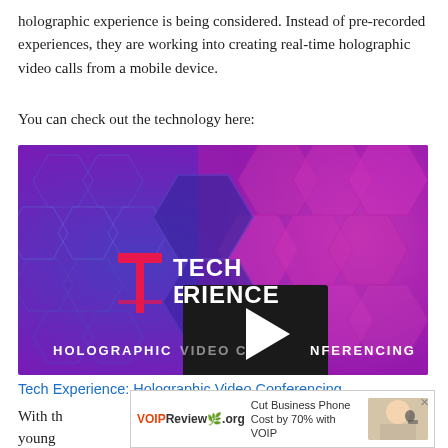holographic experience is being considered. Instead of pre-recorded experiences, they are working into creating real-time holographic video calls from a mobile device.
You can check out the technology here:
[Figure (screenshot): Video thumbnail showing T-Mobile Tech Experience: Holographic Video Conferencing with a play button overlay on a hexagonal purple/magenta background]
Tech Experience: Holographic Video Conferencing
With th...
young...
[Figure (screenshot): VOIPReview.org advertisement: Cut Business Phone Cost by 70% with VOIP, with image of woman wearing headset]